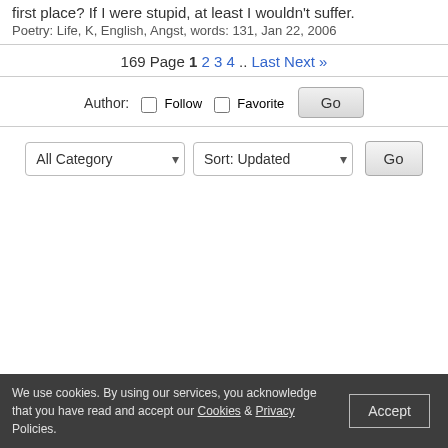first place? If I were stupid, at least I wouldn't suffer.
Poetry: Life, K, English, Angst, words: 131, Jan 22, 2006
169 Page 1 2 3 4 .. Last Next »
Author: Follow Favorite Go
All Category Sort: Updated Go
We use cookies. By using our services, you acknowledge that you have read and accept our Cookies & Privacy Policies. Accept